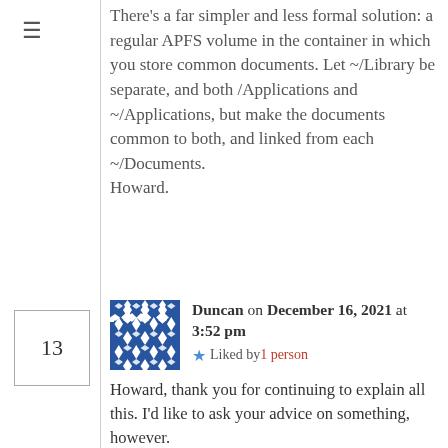There's a far simpler and less formal solution: a regular APFS volume in the container in which you store common documents. Let ~/Library be separate, and both /Applications and ~/Applications, but make the documents common to both, and linked from each ~/Documents.
Howard.
13
Duncan on December 16, 2021 at 3:52 pm  ★ Liked by 1 person
Howard, thank you for continuing to explain all this. I'd like to ask your advice on something, however.

I keep a variety of older Macs around for single-user, single-application